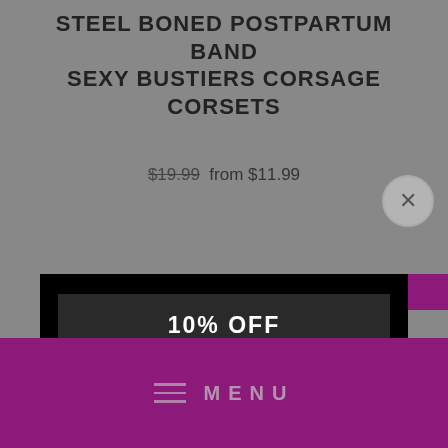STEEL BONED POSTPARTUM BAND SEXY BUSTIERS CORSAGE CORSETS
$19.99  from $11.99
10% OFF
UNLOCK 10% OFF YOUR ORDER
ENTER YOUR EMAIL
CONTINUE
MENU